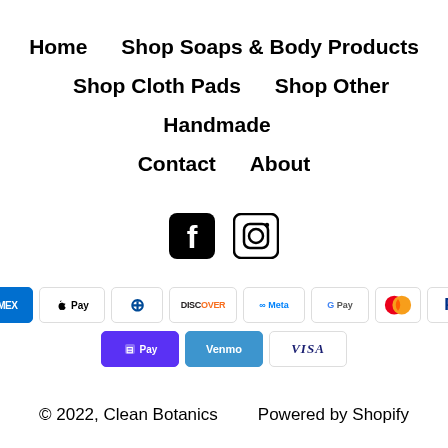Home    Shop Soaps & Body Products
Shop Cloth Pads    Shop Other Handmade
Contact    About
[Figure (logo): Facebook and Instagram social media icons]
[Figure (infographic): Payment method badges: AMEX, Apple Pay, Diners Club, Discover, Meta Pay, Google Pay, Mastercard, PayPal, Shop Pay, Venmo, Visa]
© 2022, Clean Botanics    Powered by Shopify